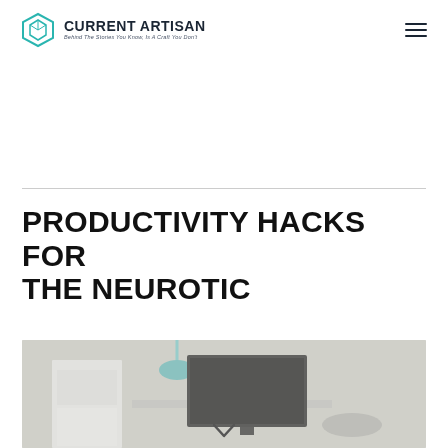CURRENT ARTISAN — Behind The Stories You Know, Is A Craft You Don't
PRODUCTIVITY HACKS FOR THE NEUROTIC
[Figure (photo): Blurred photo of a minimal home office workspace with white furniture and a monitor visible]
[Figure (other): Scroll down chevron/arrow indicator at the bottom of the page]